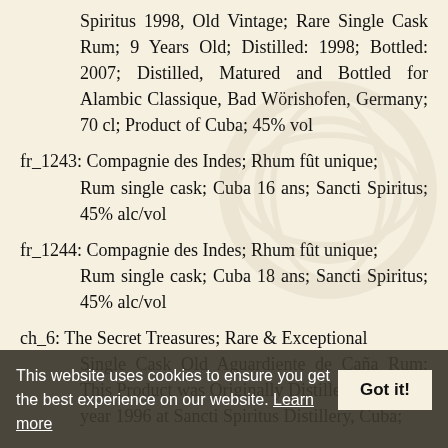Spiritus 1998, Old Vintage; Rare Single Cask Rum; 9 Years Old; Distilled: 1998; Bottled: 2007; Distilled, Matured and Bottled for Alambic Classique, Bad Wörishofen, Germany; 70 cl; Product of Cuba; 45% vol
fr_1243: Compagnie des Indes; Rhum fût unique; Rum single cask; Cuba 16 ans; Sancti Spiritus; 45% alc/vol
fr_1244: Compagnie des Indes; Rhum fût unique; Rum single cask; Cuba 18 ans; Sancti Spiritus; 45% alc/vol
ch_6: The Secret Treasures; Rare & Exceptional Single Cask Old Aguardiente de Caña Rum; This Product was Originally Distilled in the year 1996 at Sancti Spiritus Distillery, Cuba;